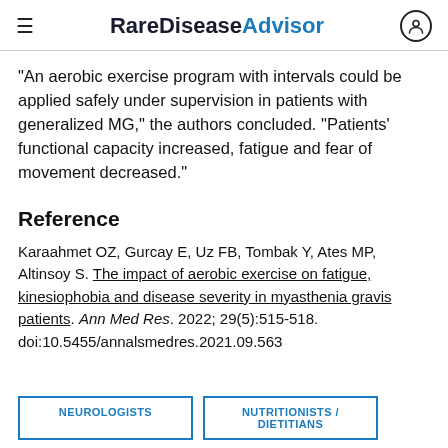RareDiseaseAdvisor
“An aerobic exercise program with intervals could be applied safely under supervision in patients with generalized MG,” the authors concluded. “Patients’ functional capacity increased, fatigue and fear of movement decreased.”
Reference
Karaahmet OZ, Gurcay E, Uz FB, Tombak Y, Ates MP, Altinsoy S. The impact of aerobic exercise on fatigue, kinesiophobia and disease severity in myasthenia gravis patients. Ann Med Res. 2022; 29(5):515-518. doi:10.5455/annalsmedres.2021.09.563
NEUROLOGISTS | NUTRITIONISTS / DIETITIANS